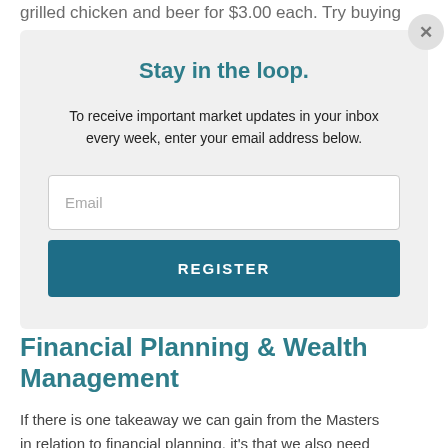grilled chicken and beer for $3.00 each. Try buying
Stay in the loop.
To receive important market updates in your inbox every week, enter your email address below.
Email
REGISTER
Financial Planning & Wealth Management
If there is one takeaway we can gain from the Masters in relation to financial planning, it’s that we also need